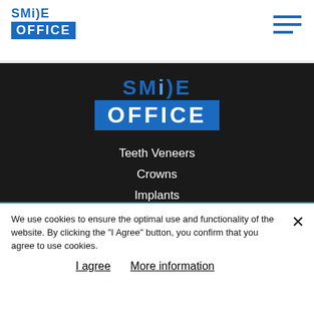SMILE OFFICE
[Figure (logo): Smile Office logo in center of dark navigation panel - SMILE text in blue above OFFICE in white on blue background rectangle]
Teeth Veneers
Crowns
Implants
Aligners
Blog
Consultation
We use cookies to ensure the optimal use and functionality of the website. By clicking the "I Agree" button, you confirm that you agree to use cookies.
I agree   More information